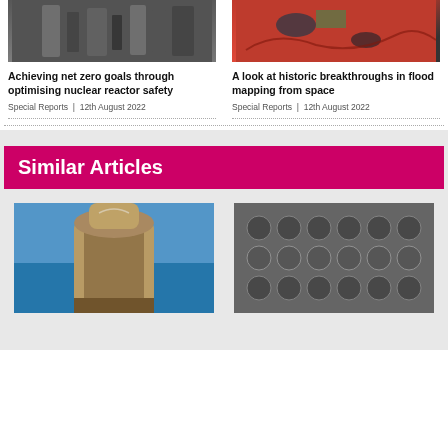[Figure (photo): Nuclear reactor machinery interior, industrial equipment]
[Figure (photo): Satellite flood mapping image from space, red false-color aerial view]
Achieving net zero goals through optimising nuclear reactor safety
Special Reports  |  12th August 2022
A look at historic breakthroughs in flood mapping from space
Special Reports  |  12th August 2022
Similar Articles
[Figure (photo): Cooling tower with steam against blue sky]
[Figure (photo): Metal pipes stacked together, industrial materials]